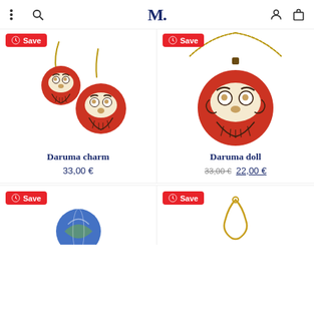M. (logo) — navigation header with menu, search, account, and cart icons
[Figure (photo): Daruma charm earrings — two red daruma doll drop earrings on gold hooks]
Daruma charm
33,00 €
[Figure (photo): Daruma doll necklace — red daruma doll pendant on gold chain]
Daruma doll
33,00 € 22,00 €
[Figure (photo): Partial view of a product at bottom left (globe or blue item)]
[Figure (photo): Partial view of a product at bottom right (gold earring or accessory)]